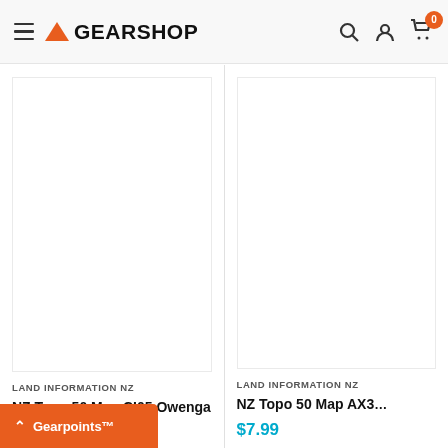GEARSHOP — navigation header with menu, logo, search, account, and cart icons (cart: 0)
[Figure (screenshot): Product image placeholder for NZ Topo 50 Map CI05 Owenga — blank white area]
LAND INFORMATION NZ
NZ Topo 50 Map CI05 Owenga
[Figure (screenshot): Product image placeholder for NZ Topo 50 Map AX3 — blank white area]
LAND INFORMATION NZ
NZ Topo 50 Map AX3...
$7.99
Gearpoints™